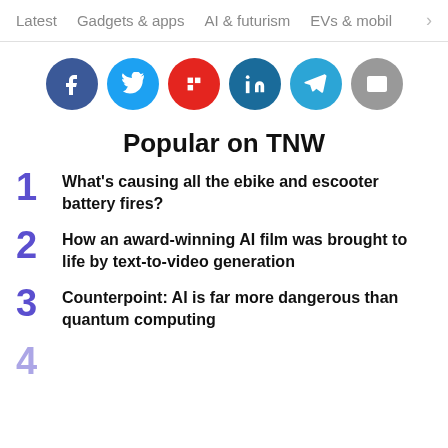Latest  Gadgets & apps  AI & futurism  EVs & mobil  >
[Figure (infographic): Row of six social share buttons: Facebook (blue circle), Twitter (light blue circle), Flipboard (red circle), LinkedIn (dark blue circle), Telegram (teal circle), Email (grey circle)]
Popular on TNW
What's causing all the ebike and escooter battery fires?
How an award-winning AI film was brought to life by text-to-video generation
Counterpoint: AI is far more dangerous than quantum computing